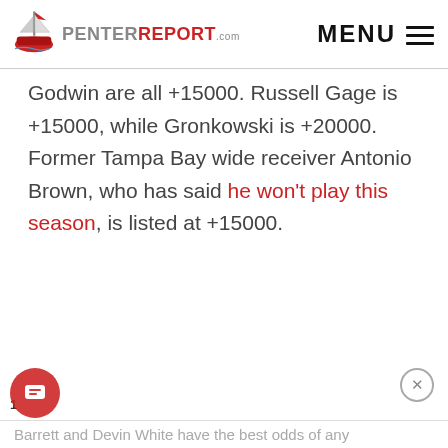PenterReport.com — MENU
Godwin are all +15000. Russell Gage is +15000, while Gronkowski is +20000. Former Tampa Bay wide receiver Antonio Brown, who has said he won't play this season, is listed at +15000.
Barrett and Devin White have the best odds of any